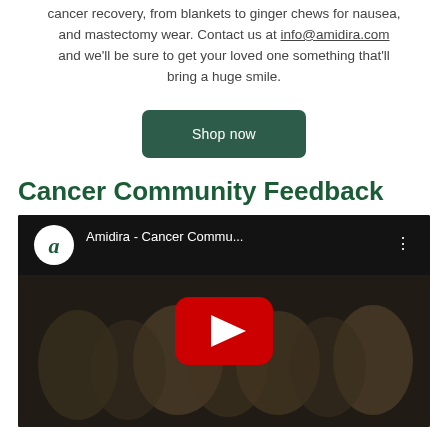cancer recovery, from blankets to ginger chews for nausea, and mastectomy wear. Contact us at info@amidira.com and we'll be sure to get your loved one something that'll bring a huge smile.
[Figure (other): Dark green rounded rectangle button labeled 'Shop now']
Cancer Community Feedback
[Figure (screenshot): YouTube video thumbnail showing 'Amidira - Cancer Commu...' with a group of people holding boxes, a red play button in the center, Amidira logo circle on top left.]